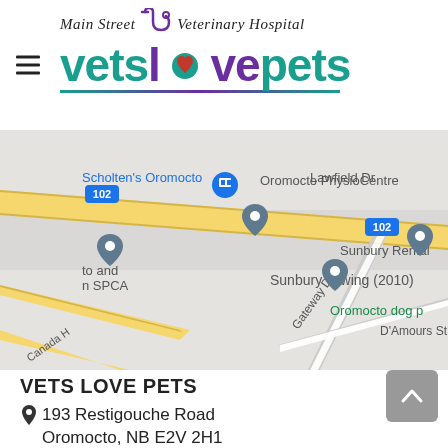[Figure (logo): Main Street Veterinary Hospital vets love pets logo with stethoscope graphic and teal/purple color scheme]
[Figure (map): Google Maps screenshot showing area near Oromocto, NB with markers for Scholten's Oromocto, Oromocto PhysioCentre, Sunbury Towing (2010), Sunbury Rental, Oromocto SPCA, and Oromocto dog park area near Highway 102]
VETS LOVE PETS
193 Restigouche Road
Oromocto, NB E2V 2H1